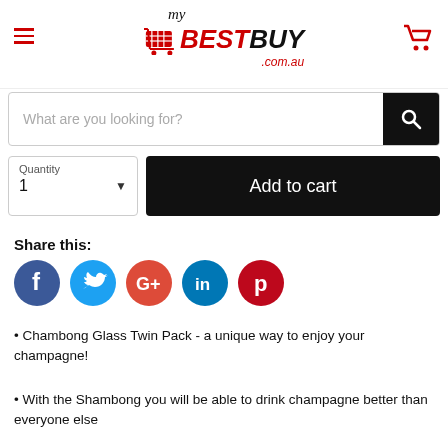[Figure (logo): myBESTBUY.com.au logo with shopping cart icon, hamburger menu, and cart icon]
[Figure (screenshot): Search bar with placeholder 'What are you looking for?' and black search button]
[Figure (screenshot): Quantity selector showing 1 and Add to cart black button]
Share this:
[Figure (infographic): Social media icons: Facebook (blue), Twitter (blue), Google+ (red-orange), LinkedIn (blue), Pinterest (dark red)]
• Chambong Glass Twin Pack - a unique way to enjoy your champagne!
• With the Shambong you will be able to drink champagne better than everyone else